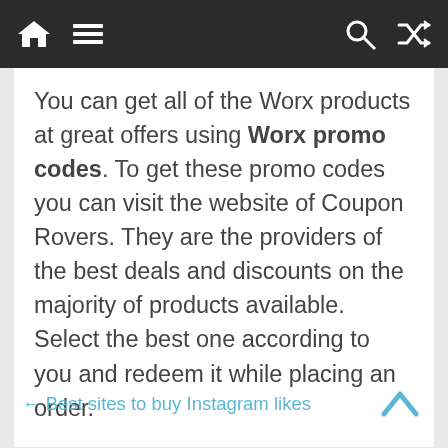Home Menu Search Shuffle
You can get all of the Worx products at great offers using Worx promo codes. To get these promo codes you can visit the website of Coupon Rovers. They are the providers of the best deals and discounts on the majority of products available. Select the best one according to you and redeem it while placing an order.
← Best sites to buy Instagram likes